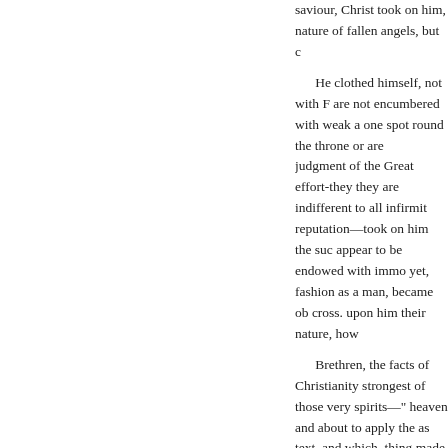saviour, Christ took on him, nature of fallen angels, but c
He clothed himself, not with F are not encumbered with weak a one spot round the throne or are judgment of the Great effort-they they are indifferent to all infirmit reputation—took on him the suc appear to be endowed with immo yet, fashion as a man, became ob cross. upon him their nature, how
Brethren, the facts of Christianity strongest of those very spirits—" heaven and about to apply the as text, and which, thing made that and do His liever's peace and joy
" Thousand thousands," and m
" minister unto Him, particula attention to-day. May a merciful company fly at His bidding. He s
"Go, and he goeth; and to My